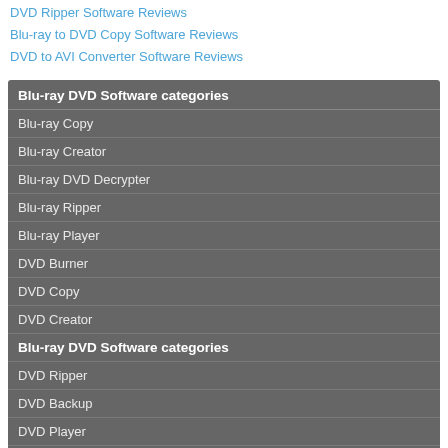DVD Ripper Software Reviews
Blu-ray to DVD Copy Software Reviews
DVD to AVI Converter Software Reviews
Blu-ray DVD Software categories
Blu-ray Copy
Blu-ray Creator
Blu-ray DVD Decrypter
Blu-ray Ripper
Blu-ray Player
DVD Burner
DVD Copy
DVD Creator
Blu-ray DVD Software categories
DVD Ripper
DVD Backup
DVD Player
HD Video Tools
Mac Software
Movie List
Photo Editor
Stream Download
Video Tools